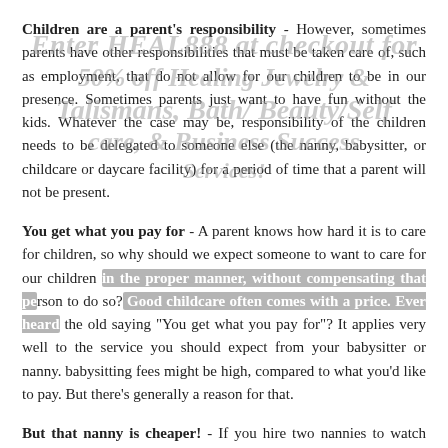Children are a parent's responsibility - However, sometimes parents have other responsibilities that must be taken care of, such as employment, that do not allow for our children to be in our presence. Sometimes parents just want to have fun without the kids. Whatever the case may be, responsibility of the children needs to be delegated to someone else (the nanny, babysitter, or childcare or daycare facility) for a period of time that a parent will not be present.
You get what you pay for - A parent knows how hard it is to care for children, so why should we expect someone to want to care for our children in the proper manner, without compensating that person to do so? Good childcare often comes with a price. Ever heard the old saying "You get what you pay for"? It applies very well to the service you should expect from your babysitter or nanny. babysitting fees might be high, compared to what you'd like to pay. But there's generally a reason for that.
But that nanny is cheaper! - If you hire two nannies to watch four kids on two separate days for the same number of hours and pay one of them two dollars per hour and the other eleven dollars per hour,